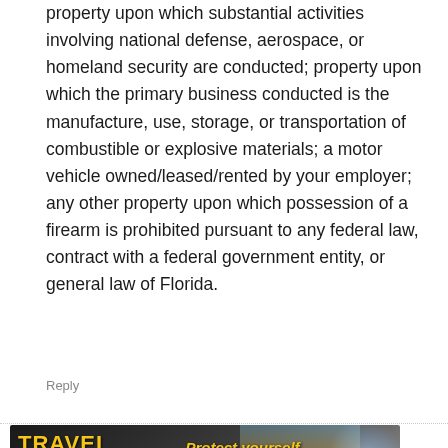property upon which substantial activities involving national defense, aerospace, or homeland security are conducted; property upon which the primary business conducted is the manufacture, use, storage, or transportation of combustible or explosive materials; a motor vehicle owned/leased/rented by your employer; any other property upon which possession of a firearm is prohibited pursuant to any federal law, contract with a federal government entity, or general law of Florida.
Reply
[Figure (infographic): Travel Guide for Gun Owners advertisement banner. Dark background with golden 'TRAVEL GUIDE FOR GUN OWNERS' text on left, center italic text 'Protect yourself wherever you go.' with orange arrow icons, and US LawShield logo on right.]